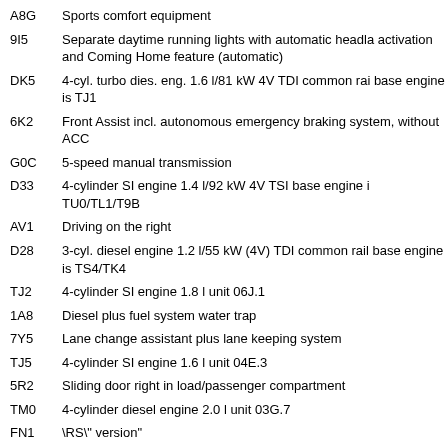| Code | Description |
| --- | --- |
| A8G | Sports comfort equipment |
| 9I5 | Separate daytime running lights with automatic headla activation and Coming Home feature (automatic) |
| DK5 | 4-cyl. turbo dies. eng. 1.6 l/81 kW 4V TDI common rai base engine is TJ1 |
| 6K2 | Front Assist incl. autonomous emergency braking system, without ACC |
| G0C | 5-speed manual transmission |
| D33 | 4-cylinder SI engine 1.4 l/92 kW 4V TSI base engine i TU0/TL1/T9B |
| AV1 | Driving on the right |
| D28 | 3-cyl. diesel engine 1.2 l/55 kW (4V) TDI common rail base engine is TS4/TK4 |
| TJ2 | 4-cylinder SI engine 1.8 l unit 06J.1 |
| 1A8 | Diesel plus fuel system water trap |
| 7Y5 | Lane change assistant plus lane keeping system |
| TJ5 | 4-cylinder SI engine 1.6 l unit 04E.3 |
| 5R2 | Sliding door right in load/passenger compartment |
| TM0 | 4-cylinder diesel engine 2.0 l unit 03G.7 |
| FN1 | \RS\" version" |
| FM3 | Variant |
| F0S | \Blue motion)"" |